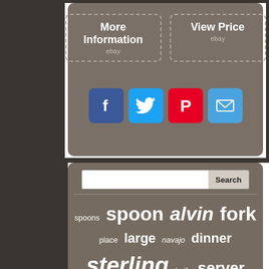[Figure (screenshot): Top panel with two eBay buttons: 'More Information' and 'View Price', both with dashed borders and 'ebay' subtitle]
[Figure (infographic): Social media icons row: Facebook (blue), Twitter (light blue), Pinterest (red), Email (blue)]
[Figure (screenshot): Search bar with input field and Search button]
[Figure (infographic): Tag cloud with words: spoons, spoon, alvin, fork, place, large, navajo, dinner, sterling, knife, server, blossom, rose, flatware, orange, hhws, salad, raphael — in various sizes]